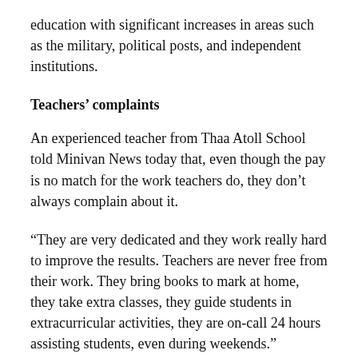education with significant increases in areas such as the military, political posts, and independent institutions.
Teachers' complaints
An experienced teacher from Thaa Atoll School told Minivan News today that, even though the pay is no match for the work teachers do, they don't always complain about it.
“They are very dedicated and they work really hard to improve the results. Teachers are never free from their work. They bring books to mark at home, they take extra classes, they guide students in extracurricular activities, they are on-call 24 hours assisting students, even during weekends.”
According to the teacher, the total pay (with salary and allowances) for the most qualified teacher at the